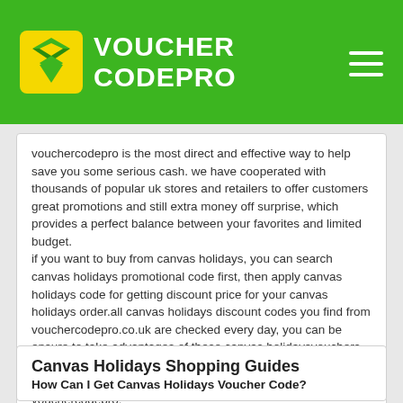VOUCHER CODEPRO
vouchercodepro is the most direct and effective way to help save you some serious cash. we have cooperated with thousands of popular uk stores and retailers to offer customers great promotions and still extra money off surprise, which provides a perfect balance between your favorites and limited budget. if you want to buy from canvas holidays, you can search canvas holidays promotional code first, then apply canvas holidays code for getting discount price for your canvas holidays order.all canvas holidays discount codes you find from vouchercodepro.co.uk are checked every day, you can be ensure to take advantages of these canvas holidaysvouchers, which can help you obtain special promos for canvas holidays, it is easy to find the biggest discount for canvas holidays from vouchercodepro.
Canvas Holidays Shopping Guides
How Can I Get Canvas Holidays Voucher Code?